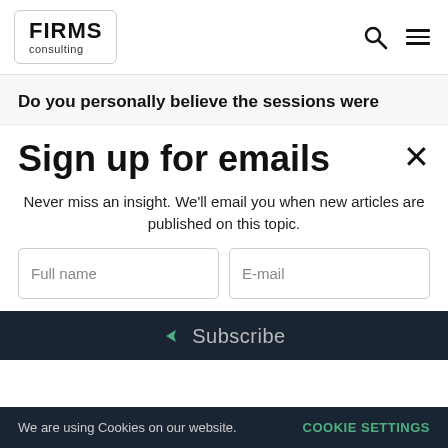FIRMS consulting
Do you personally believe the sessions were
Sign up for emails
Never miss an insight. We'll email you when new articles are published on this topic.
Full name | E-mail
Subscribe
We are using Cookies on our website. COOKIE SETTINGS